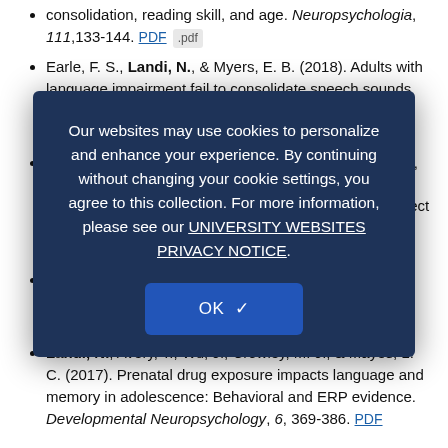consolidation, reading skill, and age. Neuropsychologia, 111, 133-144. PDF .pdf
Earle, F. S., Landi, N., & Myers, E. B. (2018). Adults with language impairment fail to consolidate speech sounds during sleep. Neuroscience Letters, 666, 58-63. PDF .pdf
Irwin, J., Avery, T., Brancazio, L., Turcios, J., Ryherd, K., & Landi, N. (2018). electrophysiological indices of audiovisual speech perception: Beyond the McGurk effect and speech in noise. Multisensory Research, 31, 506-535.
Landi, N., ... (2018). ... approaches to early reading ... integrative contributions... Adolescent Development, 8, 105-114. PDF .pdf
Landi, N., Avery, T., Wu, J., Crowley, M. J., & Mayes, L. C. (2017). Prenatal drug exposure impacts language and memory in adolescence: Behavioral and ERP evidence. Developmental Neuropsychology, 6, 369-386. PDF
Our websites may use cookies to personalize and enhance your experience. By continuing without changing your cookie settings, you agree to this collection. For more information, please see our UNIVERSITY WEBSITES PRIVACY NOTICE.